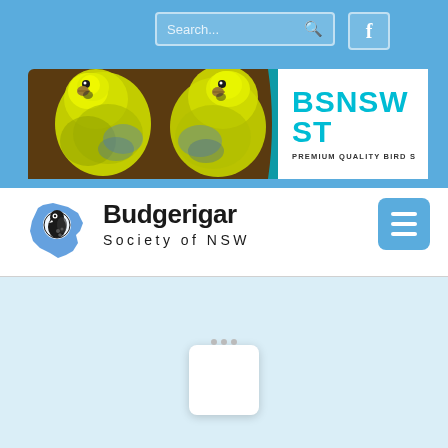[Figure (screenshot): Website header with blue background, search bar and Facebook icon button]
[Figure (photo): Banner with budgerigar birds (yellow budgies) on left and BSNSW STORE text with PREMIUM QUALITY BIRD S... on right white area]
[Figure (logo): Budgerigar Society of NSW logo - silhouette of NSW map with budgerigar]
Budgerigar Society of NSW
[Figure (screenshot): Hamburger menu button (three horizontal lines) in blue rounded square]
[Figure (screenshot): Light blue main content area with loading spinner (white rounded square)]